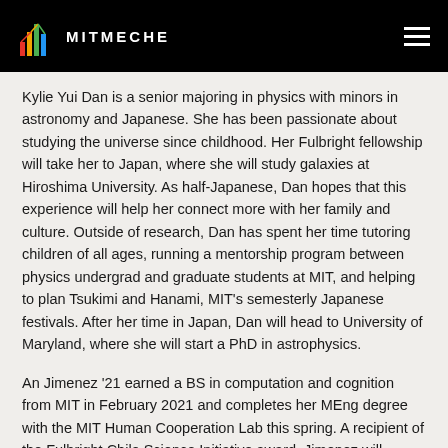MITMECHE
Kylie Yui Dan is a senior majoring in physics with minors in astronomy and Japanese. She has been passionate about studying the universe since childhood. Her Fulbright fellowship will take her to Japan, where she will study galaxies at Hiroshima University. As half-Japanese, Dan hopes that this experience will help her connect more with her family and culture. Outside of research, Dan has spent her time tutoring children of all ages, running a mentorship program between physics undergrad and graduate students at MIT, and helping to plan Tsukimi and Hanami, MIT's semesterly Japanese festivals. After her time in Japan, Dan will head to University of Maryland, where she will start a PhD in astrophysics.
An Jimenez ’21 earned a BS in computation and cognition from MIT in February 2021 and completes her MEng degree with the MIT Human Cooperation Lab this spring. A recipient of the Fulbright Chile Science Initiative award, Jimenez will collaborate